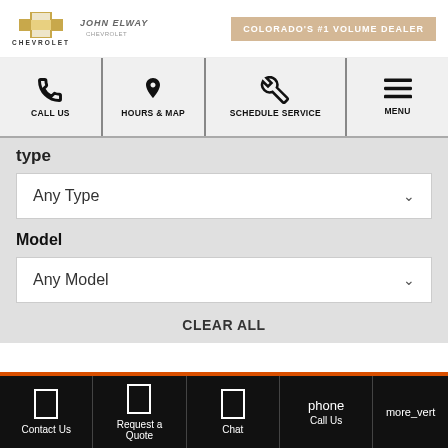[Figure (screenshot): Chevrolet and John Elway dealership logo with Colorado's #1 Volume Dealer badge]
[Figure (screenshot): Navigation bar with Call Us, Hours & Map, Schedule Service, and Menu options]
type
Any Type
Model
Any Model
CLEAR ALL
Contact Us | Request a Quote | Chat | phone Call Us | more_vert